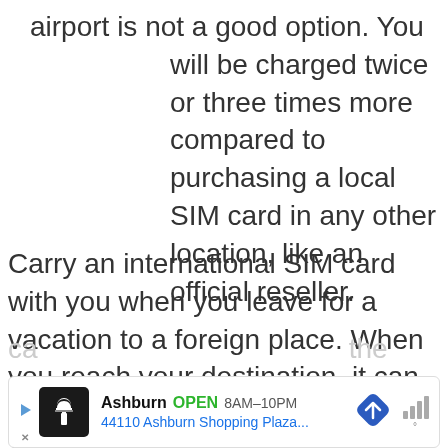airport is not a good option. You will be charged twice or three times more compared to purchasing a local SIM card in any other location, like an official reseller.
Carry an international SIM card with you when you leave for a vacation to a foreign place. When you reach your destination, it can be a tricky thing to find a local SIM card all at once. So, you can use the data of your global data SIM
[Figure (other): Ad bar: Ashburn OPEN 8AM-10PM, 44110 Ashburn Shopping Plaza..., with restaurant icon, directional diamond, and Waze-style icon]